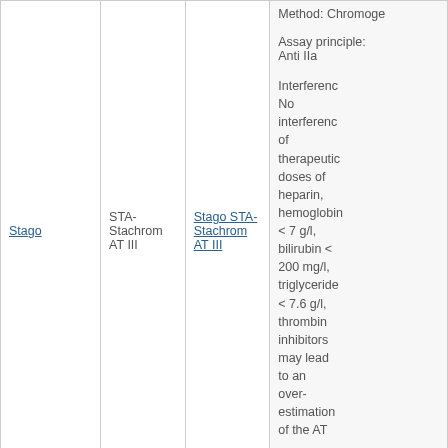| Manufacturer | Product Name | Package Insert | Details |
| --- | --- | --- | --- |
| Stago | STA-Stachrom AT III | Stago STA-Stachrom AT III | Method: Chromogenic

Assay principle: Anti IIa

Interference: No interference of therapeutic doses of heparin, hemoglobin < 7 g/l, bilirubin < 200 mg/l, triglycerides < 7.6 g/l, thrombin inhibitors may lead to an over-estimation of the AT |